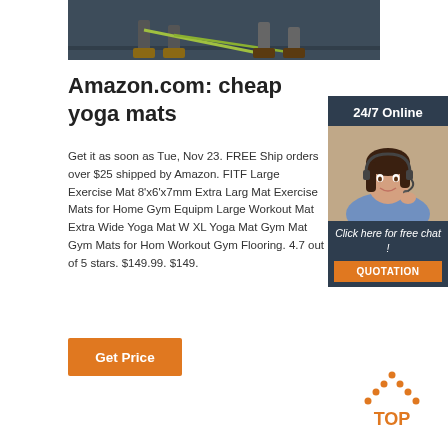[Figure (photo): Top partial photo showing legs/feet of people with exercise resistance bands on a dark background]
Amazon.com: cheap yoga mats
Get it as soon as Tue, Nov 23. FREE Ship orders over $25 shipped by Amazon. FITF Large Exercise Mat 8'x6'x7mm Extra Larg Mat Exercise Mats for Home Gym Equipm Large Workout Mat Extra Wide Yoga Mat W XL Yoga Mat Gym Mat Gym Mats for Hom Workout Gym Flooring. 4.7 out of 5 stars. $149.99. $149.
[Figure (photo): 24/7 Online chat widget with woman wearing headset, dark blue background, orange QUOTATION button]
[Figure (logo): TOP logo with orange dotted triangle above orange text reading TOP]
Get Price